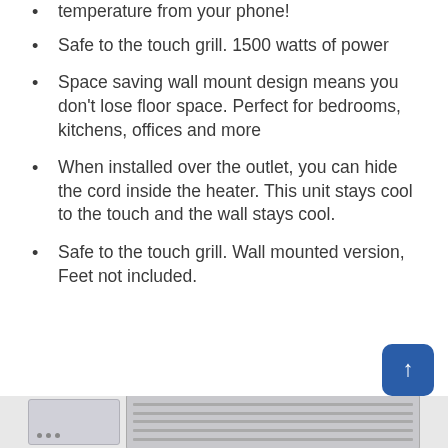temperature from your phone!
Safe to the touch grill. 1500 watts of power
Space saving wall mount design means you don't lose floor space. Perfect for bedrooms, kitchens, offices and more
When installed over the outlet, you can hide the cord inside the heater. This unit stays cool to the touch and the wall stays cool.
Safe to the touch grill. Wall mounted version, Feet not included.
[Figure (photo): Bottom portion of a wall-mounted electric heater product, showing the device with a control panel on the left and a grill section on the right. A blue scroll-to-top button is visible on the right side.]